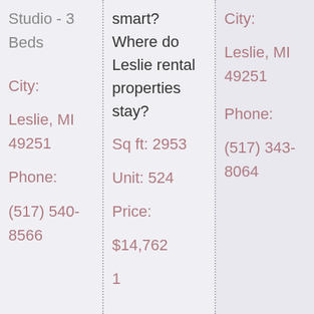Studio - 3 Beds
City:
Leslie, MI 49251
Phone:
(517) 540-8566
smart? Where do Leslie rental properties stay?
Sq ft: 2953
Unit: 524
Price:
$14,762
1
City:
Leslie, MI 49251
Phone:
(517) 343-8064